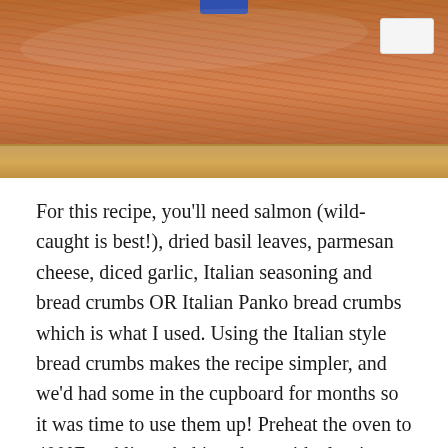[Figure (photo): A packaged salmon fillet on a wooden cutting board, wrapped in plastic, with a blue label at the top and a white price/info tag on the right side.]
For this recipe, you'll need salmon (wild-caught is best!), dried basil leaves, parmesan cheese, diced garlic, Italian seasoning and bread crumbs OR Italian Panko bread crumbs which is what I used. Using the Italian style bread crumbs makes the recipe simpler, and we'd had some in the cupboard for months so it was time to use them up! Preheat the oven to 400°F and line a baking sheet with aluminum foil.